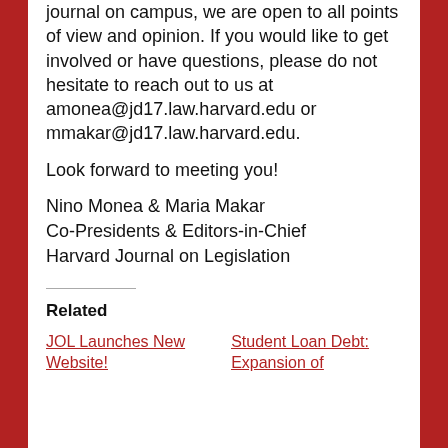journal on campus, we are open to all points of view and opinion. If you would like to get involved or have questions, please do not hesitate to reach out to us at amonea@jd17.law.harvard.edu or mmakar@jd17.law.harvard.edu.
Look forward to meeting you!
Nino Monea & Maria Makar
Co-Presidents & Editors-in-Chief
Harvard Journal on Legislation
Related
JOL Launches New Website!
Student Loan Debt: Expansion of